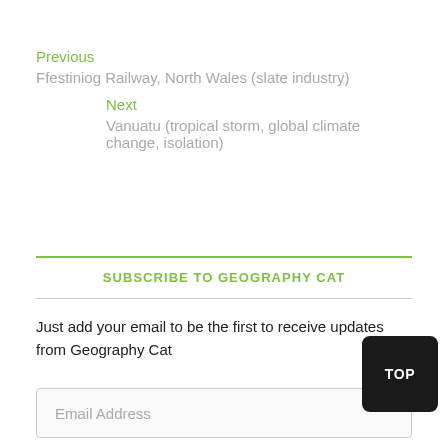Previous
Ffestiniog Railway, North Wales (slate industry)
Next
Vanuatu (tropical storm, global climate change, isolation)
SUBSCRIBE TO GEOGRAPHY CAT
Just add your email to be the first to receive updates from Geography Cat
Email Address